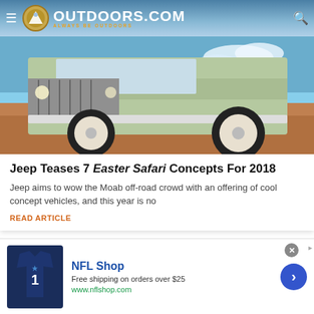OUTDOORS.COM — ALWAYS BE OUTDOORS
[Figure (photo): Front view of a vintage light green Jeep SUV/4x4 with large off-road tires on a dirt terrain with blue sky background]
Jeep Teases 7 Easter Safari Concepts For 2018
Jeep aims to wow the Moab off-road crowd with an offering of cool concept vehicles, and this year is no
READ ARTICLE
SHOW MORE POSTS
[Figure (photo): NFL Shop advertisement showing a navy blue Dallas Cowboys jersey with number 1, NFL Shop branding, free shipping offer and www.nflshop.com URL]